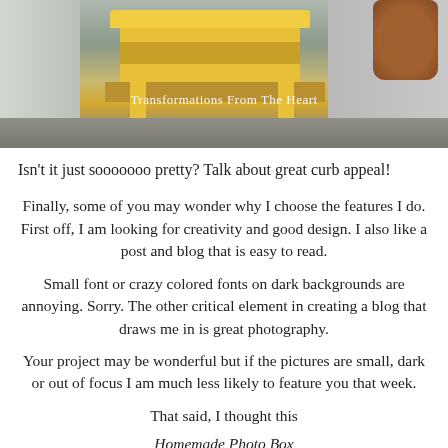[Figure (photo): A yellow painted bench on a porch with a terracotta pot of plants visible on the right, a door on the left, and horizontal wood siding in the background. Watermark reads 'Transformations From The Heart'.]
Isn't it just sooooooo pretty? Talk about great curb appeal!
Finally, some of you may wonder why I choose the features I do. First off, I am looking for creativity and good design. I also like a post and blog that is easy to read.
Small font or crazy colored fonts on dark backgrounds are annoying. Sorry. The other critical element in creating a blog that draws me in is great photography.
Your project may be wonderful but if the pictures are small, dark or out of focus I am much less likely to feature you that week.
That said, I thought this
Homemade Photo Box